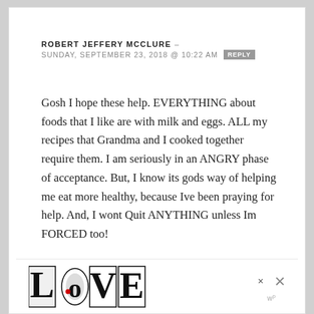ROBERT JEFFERY MCCLURE – SUNDAY, SEPTEMBER 23, 2018 @ 10:22 AM  REPLY
Gosh I hope these help. EVERYTHING about foods that I like are with milk and eggs. ALL my recipes that Grandma and I cooked together require them. I am seriously in an ANGRY phase of acceptance. But, I know its gods way of helping me eat more healthy, because Ive been praying for help. And, I wont Quit ANYTHING unless Im FORCED too!
[Figure (logo): LOVE logo in decorative black and white illustrated lettering with a small red dot, followed by close/dismiss icons and a WordPress watermark]